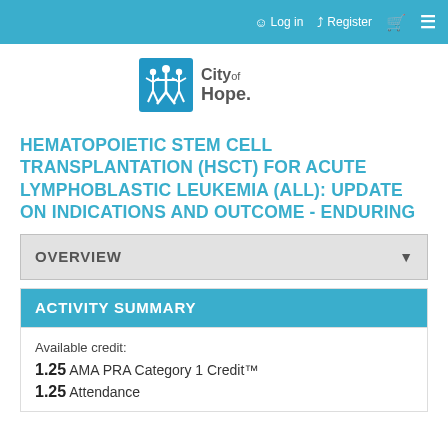Log in  Register
[Figure (logo): City of Hope logo with stylized figures and text 'City of Hope.']
HEMATOPOIETIC STEM CELL TRANSPLANTATION (HSCT) FOR ACUTE LYMPHOBLASTIC LEUKEMIA (ALL): UPDATE ON INDICATIONS AND OUTCOME - ENDURING
OVERVIEW
ACTIVITY SUMMARY
Available credit:
1.25 AMA PRA Category 1 Credit™
1.25 Attendance